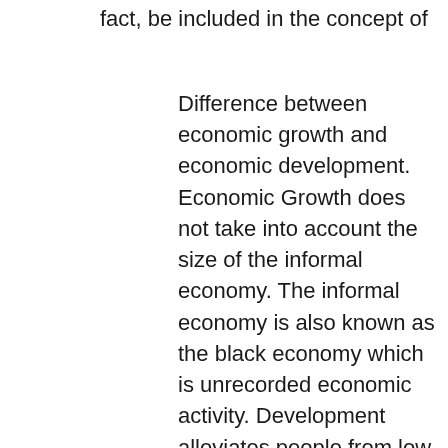fact, be included in the concept of
Difference between economic growth and economic development. Economic Growth does not take into account the size of the informal economy. The informal economy is also known as the black economy which is unrecorded economic activity. Development alleviates people from low standards of living into proper employment with suitable shelter. Economic Growth does not take into account the ... There is a definite difference